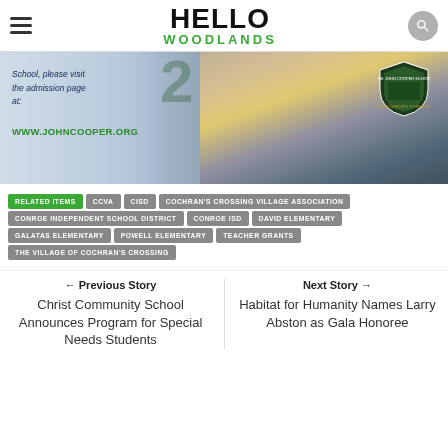HELLO WOODLANDS
[Figure (photo): John Cooper School building at dusk with school crest/shield logo, text overlay: 'School, please visit the admission page at: WWW.JOHNCOOPER.ORG']
RELATED ITEMS
CCVA
CISD
COCHRAN'S CROSSING VILLAGE ASSOCIATION
CONROE INDEPENDENT SCHOOL DISTRICT
CONROE ISD
DAVID ELEMENTARY
GALATAS ELEMENTARY
POWELL ELEMENTARY
TEACHER GRANTS
THE VILLAGE OF COCHRAN'S CROSSING
← Previous Story
Christ Community School Announces Program for Special Needs Students
Next Story →
Habitat for Humanity Names Larry Abston as Gala Honoree